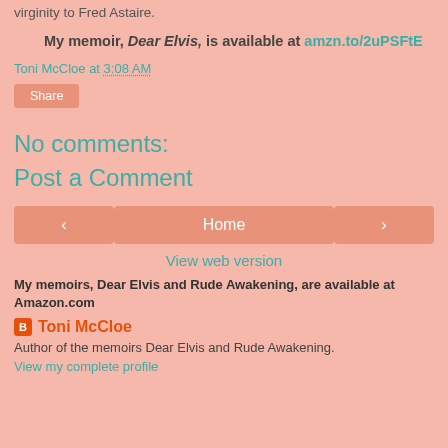virginity to Fred Astaire.
My memoir, Dear Elvis, is available at amzn.to/2uPSFtE
Toni McCloe at 3:08 AM
Share
No comments:
Post a Comment
Home
View web version
My memoirs, Dear Elvis and Rude Awakening, are available at Amazon.com
Toni McCloe
Author of the memoirs Dear Elvis and Rude Awakening.
View my complete profile